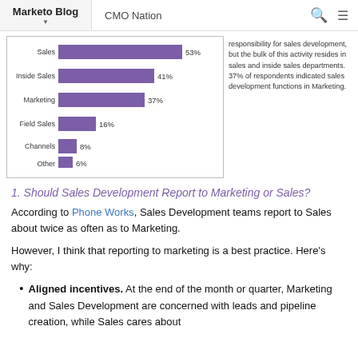Marketo Blog | CMO Nation
[Figure (bar-chart): Sales Development Department Chart]
responsibility for sales development, but the bulk of this activity resides in sales and inside sales departments. 37% of respondents indicated sales development functions in Marketing.
1. Should Sales Development Report to Marketing or Sales?
According to Phone Works, Sales Development teams report to Sales about twice as often as to Marketing.
However, I think that reporting to marketing is a best practice. Here's why:
Aligned incentives. At the end of the month or quarter, Marketing and Sales Development are concerned with leads and pipeline creation, while Sales cares about